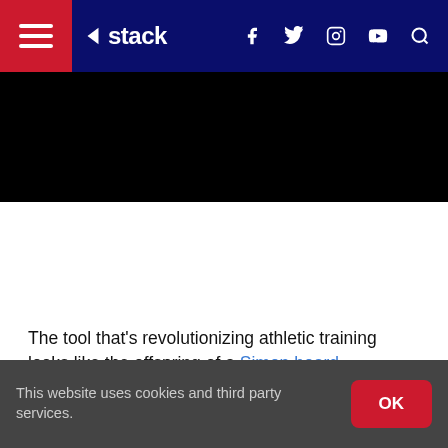stack — navigation bar with hamburger menu, logo, social icons (f, twitter, instagram, youtube), search
[Figure (screenshot): Black advertisement banner area below navigation]
[Figure (infographic): Four social share buttons: Facebook (blue), Twitter (light blue), Pinterest (red), Email (black)]
The tool that's revolutionizing athletic training looks like the offspring of a Simon board.
It's a series of small black disks, each capable of lighting up in six different colors. Along with the interconnected tablet, these simple lights are changing the way elite
This website uses cookies and third party services. OK